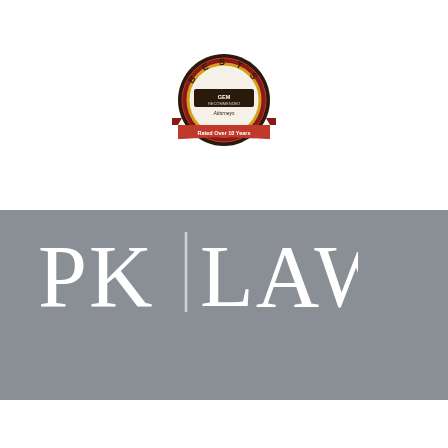[Figure (logo): Best attorneys award badge/seal with red ribbon banner reading 'Rated Over 10 Years']
[Figure (logo): PK LAW firm logo in white serif text on gray background]
Towson, MD
901 Dulaney Valley | Suite 500
Towson, MD 21204
[Figure (infographic): Social share bar with LinkedIn, Twitter, Facebook buttons and share count showing 0 SHARES]